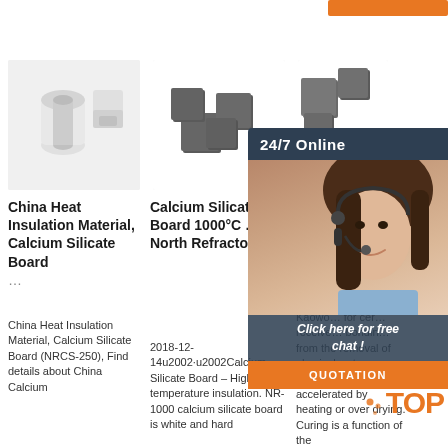[Figure (screenshot): Orange button bar at top right]
[Figure (photo): White ceramic insulation tubes/cylinders - China Heat Insulation Material product image]
China Heat Insulation Material, Calcium Silicate Board …
China Heat Insulation Material, Calcium Silicate Board (NRCS-250), Find details about China Calcium
[Figure (photo): Dark gray/charcoal cube-shaped refractory blocks - Calcium Silicate Board product image]
Calcium Silicate Board 1000°C … - North Refractories
2018-12-14u2002·u2002Calcium Silicate Board – High temperature insulation. NR-1000 calcium silicate board is white and hard
[Figure (photo): Dark metal/graphite cube-shaped blocks - Kaowool Rigid product image with chat overlay]
Kaow… Rigid
Kaowo… for cer… receive… bondin… from the removal of physical water. Bonding may be accelerated by heating or over drying. Curing is a function of the
[Figure (infographic): 24/7 Online chat popup with agent photo, Click here for free chat!, QUOTATION button, and TOP badge]